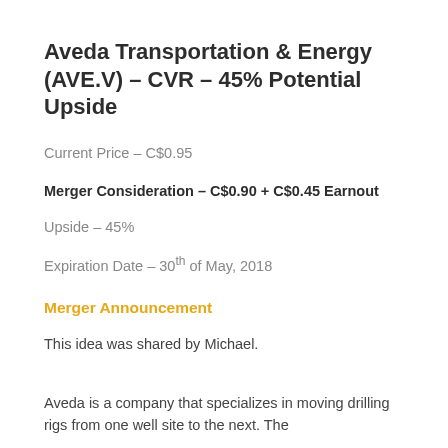Aveda Transportation & Energy (AVE.V) – CVR – 45% Potential Upside
Current Price – C$0.95
Merger Consideration – C$0.90 + C$0.45 Earnout
Upside – 45%
Expiration Date – 30th of May, 2018
Merger Announcement
This idea was shared by Michael.
Aveda is a company that specializes in moving drilling rigs from one well site to the next. The